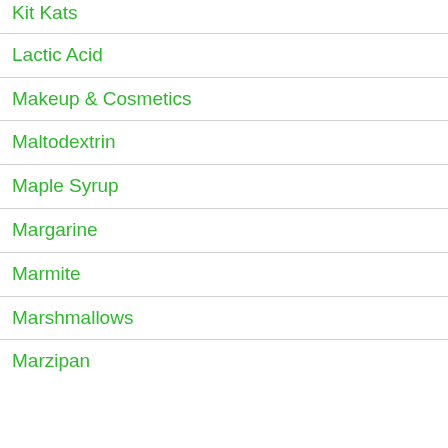Kit Kats
Lactic Acid
Makeup & Cosmetics
Maltodextrin
Maple Syrup
Margarine
Marmite
Marshmallows
Marzipan